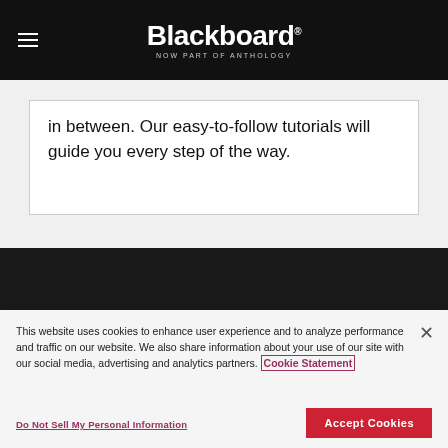Blackboard — NOW PART OF ANTHOLOGY
in between. Our easy-to-follow tutorials will guide you every step of the way.
This website uses cookies to enhance user experience and to analyze performance and traffic on our website. We also share information about your use of our site with our social media, advertising and analytics partners. Cookie Statement
Do Not Sell My Personal Information
Accept Cookies